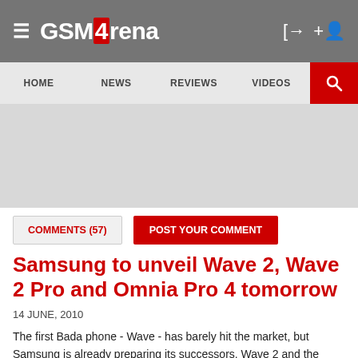GSMArena
HOME | NEWS | REVIEWS | VIDEOS
[Figure (other): Gray advertisement/banner placeholder area]
COMMENTS (57) | POST YOUR COMMENT
Samsung to unveil Wave 2, Wave 2 Pro and Omnia Pro 4 tomorrow
14 JUNE, 2010
The first Bada phone - Wave - has barely hit the market, but Samsung is already preparing its successors. Wave 2 and the QWERTY-packed Wave 2 Pro will be unveiled tomorrow along with Windows-based...